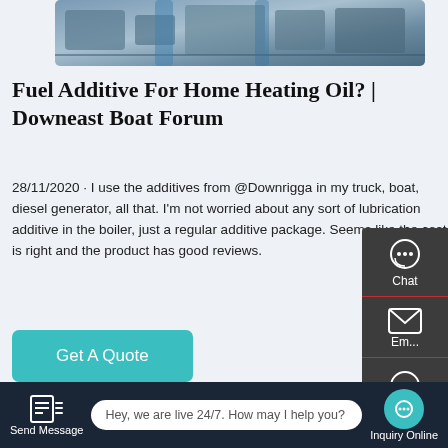[Figure (photo): Industrial boiler or heating equipment in a factory/industrial setting, shown from above with blue and grey machinery]
Fuel Additive For Home Heating Oil? | Downeast Boat Forum
28/11/2020 · I use the additives from @Downrigga in my truck, boat, diesel generator, all that. I'm not worried about any sort of lubrication additive in the boiler, just a regular additive package. Seems like the cost is right and the product has good reviews.
[Figure (illustration): Get A Quote button - teal/cyan colored call-to-action button]
[Figure (photo): Industrial boiler system with pipes and equipment in dark industrial setting]
[Figure (other): Right sidebar with Chat, Email, Contact icons and TOP button overlay]
[Figure (other): Bottom navigation bar with Send Message, live chat text, and Inquiry Online buttons]